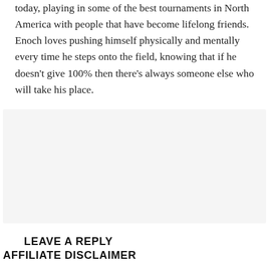today, playing in some of the best tournaments in North America with people that have become lifelong friends. Enoch loves pushing himself physically and mentally every time he steps onto the field, knowing that if he doesn't give 100% then there's always someone else who will take his place.
LEAVE A REPLY
You must be logged in to post a comment.
AFFILIATE DISCLAIMER